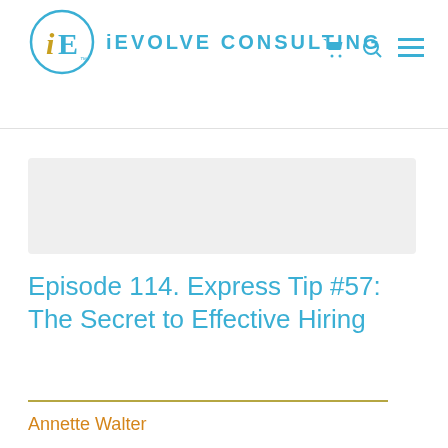[Figure (logo): iEvolve Consulting logo: circular emblem with 'iE' letters (i in gold/green, E in teal) with TM mark, followed by 'iEVOLVE CONSULTING' text in teal]
[Figure (other): Light gray placeholder image box]
Episode 114. Express Tip #57: The Secret to Effective Hiring
Annette Walter